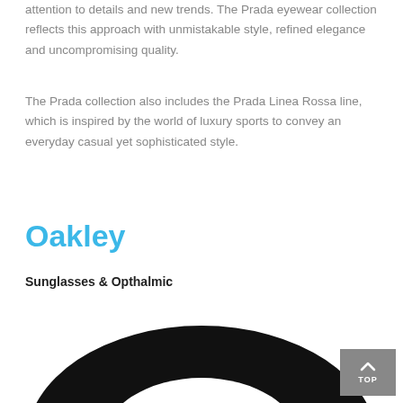attention to details and new trends. The Prada eyewear collection reflects this approach with unmistakable style, refined elegance and uncompromising quality.
The Prada collection also includes the Prada Linea Rossa line, which is inspired by the world of luxury sports to convey an everyday casual yet sophisticated style.
Oakley
Sunglasses & Opthalmic
[Figure (logo): Oakley brand logo — a black elliptical lens/oval shape with a hollow center, partially cropped at the bottom of the page]